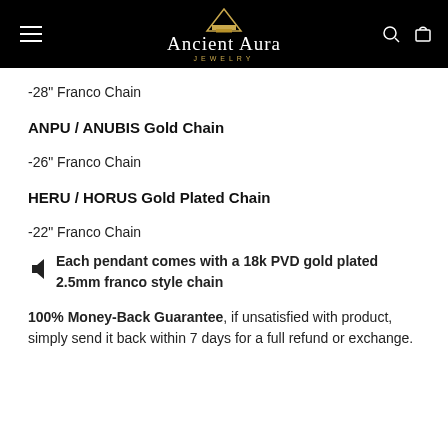Ancient Aura Jewelry
-28" Franco Chain
ANPU / ANUBIS  Gold Chain
-26" Franco Chain
HERU / HORUS Gold Plated Chain
-22" Franco Chain
- Each pendant comes with a 18k PVD gold plated 2.5mm franco style chain
100% Money-Back Guarantee, if unsatisfied with product, simply send it back within 7 days for a full refund or exchange.